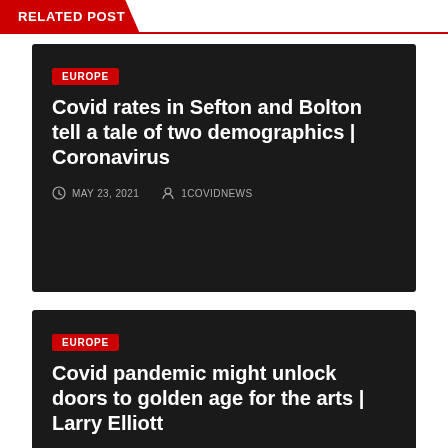RELATED POST
[Figure (screenshot): Dark card with EUROPE tag, headline: Covid rates in Sefton and Bolton tell a tale of two demographics | Coronavirus, dated MAY 23, 2021 by 1COVIDNEWS]
[Figure (screenshot): Dark card with EUROPE tag, headline: Covid pandemic might unlock doors to golden age for the arts | Larry Elliott, dated MAY 23, 2021 by 1COVIDNEWS]